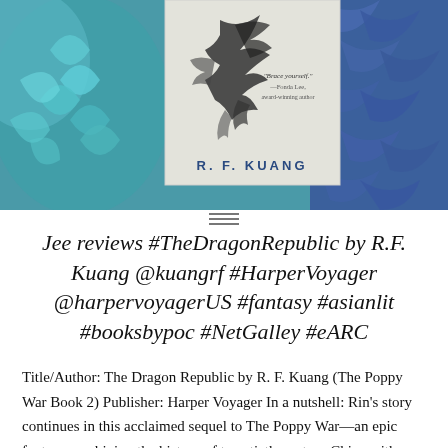[Figure (photo): Book cover of The Dragon Republic by R.F. Kuang overlaid on a colorful blue floral background. The book cover shows a black and white bird in flight with the author name R.F. Kuang and a quote 'Brace yourself.' —Fonda Lee, award-winning author.]
Jee reviews #TheDragonRepublic by R.F. Kuang @kuangrf #HarperVoyager @harpervoyagerUS #fantasy #asianlit #booksbypoc #NetGalley #eARC
Title/Author: The Dragon Republic by R. F. Kuang (The Poppy War Book 2) Publisher: Harper Voyager In a nutshell: Rin's story continues in this acclaimed sequel to The Poppy War—an epic fantasy combining the history of twentieth-century China with a gripping world of gods and monsters. The war is